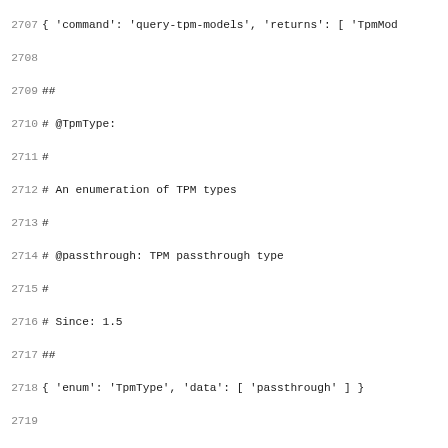Code listing lines 2707-2739 showing QAPI schema definitions for TpmType and TPMPassthroughOptions
2707 { 'command': 'query-tpm-models', 'returns': [ 'TpmMod
2708
2709 ##
2710 # @TpmType:
2711 #
2712 # An enumeration of TPM types
2713 #
2714 # @passthrough: TPM passthrough type
2715 #
2716 # Since: 1.5
2717 ##
2718 { 'enum': 'TpmType', 'data': [ 'passthrough' ] }
2719
2720 ##
2721 # @query-tpm-types:
2722 #
2723 # Return a list of supported TPM types
2724 #
2725 # Returns: a list of TpmType
2726 #
2727 # Since: 1.5
2728 ##
2729 { 'command': 'query-tpm-types', 'returns': ['TpmType']
2730
2731 ##
2732 # @TPMPassthroughOptions:
2733 #
2734 # Information about the TPM passthrough type
2735 #
2736 # @path: #optional string describing the path used for
2737 #
2738 # @cancel-path: #optional string showing the TPM's syst
2739 #              for cancellation of TPM commands while